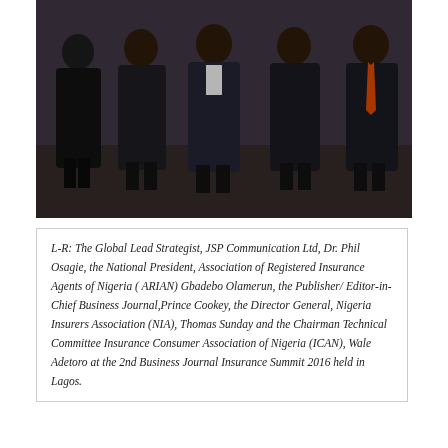[Figure (photo): Group photo of five men in dark suits standing together at the 2nd Business Journal Insurance Summit 2016 in Lagos. One man on the far right is wearing an orange/red tie.]
L-R: The Global Lead Strategist, JSP Communication Ltd, Dr. Phil Osagie, the National President, Association of Registered Insurance Agents of Nigeria ( ARIAN) Gbadebo Olamerun, the Publisher/ Editor-in-Chief Business Journal,Prince Cookey, the Director General, Nigeria Insurers Association (NIA), Thomas Sunday and the Chairman Technical Committee Insurance Consumer Association of Nigeria (ICAN), Wale Adetoro at the 2nd Business Journal Insurance Summit 2016 held in Lagos.
Trending